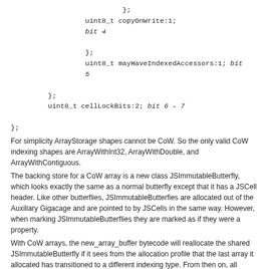};
    uint8_t copyOnWrite:1;
    bit 4
};
uint8_t mayHaveIndexedAccessors:1; bit 5
};
uint8_t cellLockBits:2; bit 6 - 7
};
For simplicity ArrayStorage shapes cannot be CoW. So the only valid CoW indexing shapes are ArrayWithInt32, ArrayWithDouble, and ArrayWithContiguous.
The backing store for a CoW array is a new class JSImmutableButterfly, which looks exactly the same as a normal butterfly except that it has a JSCell header. Like other butterflies, JSImmutableButterfies are allocated out of the Auxiliary Gigacage and are pointed to by JSCells in the same way. However, when marking JSImmutableButterflies they are marked as if they were a property.
With CoW arrays, the new_array_buffer bytecode will reallocate the shared JSImmutableButterfly if it sees from the allocation profile that the last array it allocated has transitioned to a different indexing type. From then on, all arrays created by that new_array_buffer bytecode will have the promoted indexing type. This is more or less the same as what we used to do. The